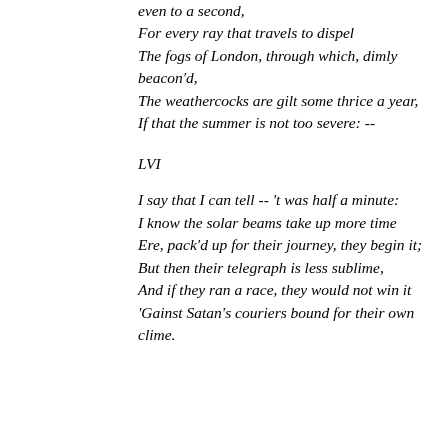even to a second,
For every ray that travels to dispel
The fogs of London, through which, dimly beacon'd,
The weathercocks are gilt some thrice a year,
If that the summer is not too severe: --
LVI
I say that I can tell -- 't was half a minute:
I know the solar beams take up more time
Ere, pack'd up for their journey, they begin it;
But then their telegraph is less sublime,
And if they ran a race, they would not win it
'Gainst Satan's couriers bound for their own clime.